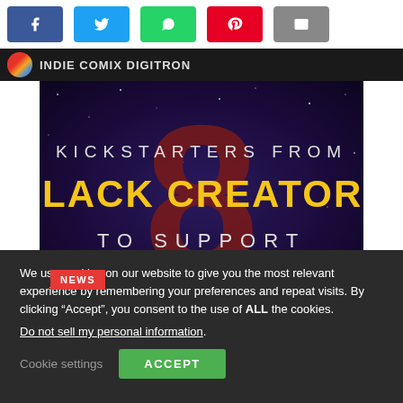[Figure (screenshot): Social media share buttons: Facebook (blue), Twitter (cyan), WhatsApp (green), Pinterest (red), Email (grey)]
INDIE COMIX DIGITRON
[Figure (illustration): Banner image with dark space background and a large red number 8. Text reads: KICKSTARTERS FROM BLACK CREATORS TO SUPPORT]
NEWS
We use cookies on our website to give you the most relevant experience by remembering your preferences and repeat visits. By clicking “Accept”, you consent to the use of ALL the cookies.
Do not sell my personal information.
Cookie settings  ACCEPT